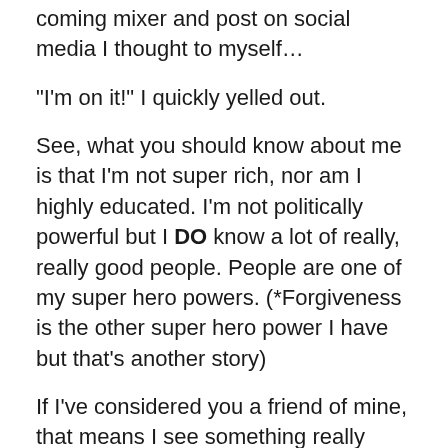coming mixer and post on social media I thought to myself…
“I'm on it!” I quickly yelled out.
See, what you should know about me is that I’m not super rich, nor am I highly educated. I’m not politically powerful but I DO know a lot of really, really good people. People are one of my super hero powers. (*Forgiveness is the other super hero power I have but that’s another story)
If I’ve considered you a friend of mine, that means I see something really good in you. I hope that you’ve befriended me in the same manner. Good people usually stick together. We may not be similar in lots of ways but there’s usually a common denominator of goodness among all my circles of friends. And let me tell you… they did not disappoint!